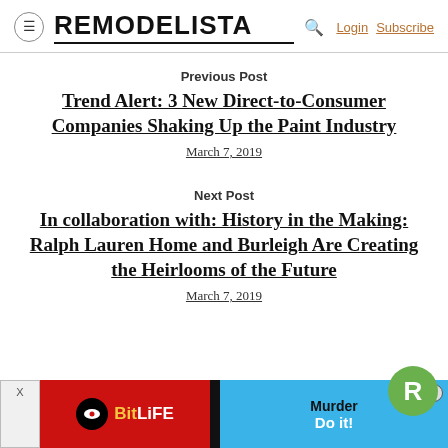REMODELISTA | Login | Subscribe
Previous Post
Trend Alert: 3 New Direct-to-Consumer Companies Shaking Up the Paint Industry
March 7, 2019
Next Post
In collaboration with: History in the Making: Ralph Lauren Home and Burleigh Are Creating the Heirlooms of the Future
March 7, 2019
[Figure (screenshot): Advertisement banner showing BitLife app and Murder game ad]